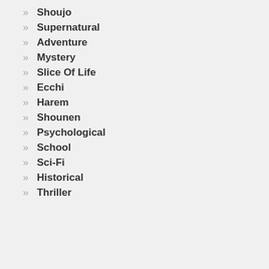Shoujo
Supernatural
Adventure
Mystery
Slice Of Life
Ecchi
Harem
Shounen
Psychological
School
Sci-Fi
Historical
Thriller